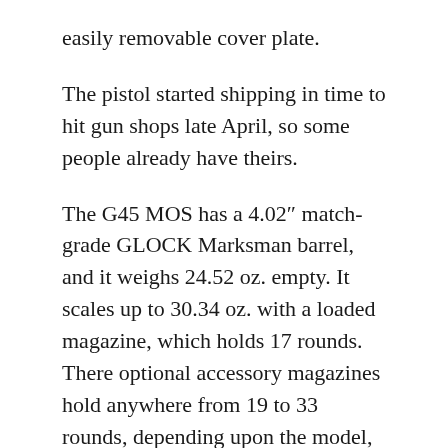easily removable cover plate.
The pistol started shipping in time to hit gun shops late April, so some people already have theirs.
The G45 MOS has a 4.02″ match-grade GLOCK Marksman barrel, and it weighs 24.52 oz. empty. It scales up to 30.34 oz. with a loaded magazine, which holds 17 rounds. There optional accessory magazines hold anywhere from 19 to 33 rounds, depending upon the model, translating to a lot of firepower.